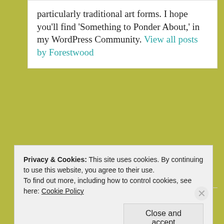particularly traditional art forms. I hope you'll find 'Something to Ponder About,' in my WordPress Community. View all posts by Forestwood
PREVIOUS POST
Plastic Waste in Your Environment
NEXT POST
Last Photo Challenge
Privacy & Cookies: This site uses cookies. By continuing to use this website, you agree to their use. To find out more, including how to control cookies, see here: Cookie Policy
Close and accept